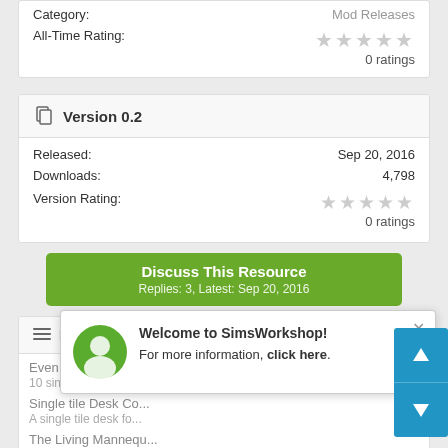Category:
All-Time Rating:
Mod Releases
0 ratings
Version 0.2
Released:
Sep 20, 2016
Downloads:
4,798
Version Rating:
0 ratings
Discuss This Resource
Replies: 3, Latest: Sep 20, 2016
More Resources from G1G2.
Even More Single T...
10 single tile desks...
Single tile Desk Co...
A single tile desk fo...
The Living Mannequ...
bringing Mannequins to life with this mod
Welcome to SimsWorkshop!
For more information, click here.